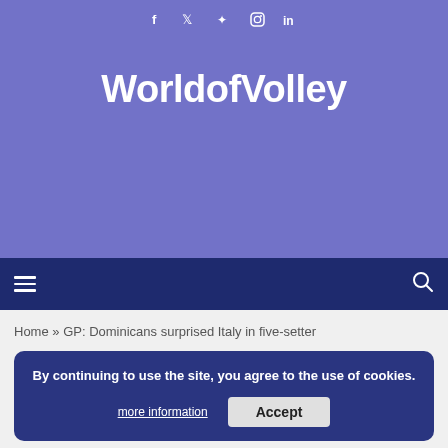f  twitter  instagram  in
WorldofVolley
☰  [search]
Home » GP: Dominicans surprised Italy in five-setter
By continuing to use the site, you agree to the use of cookies. more information  Accept
GP: Dominicans surprised Italy in five-setter
written by WoV